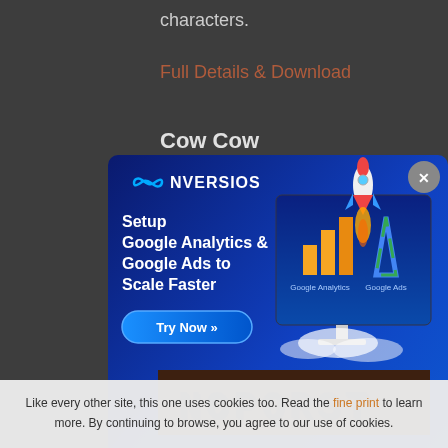characters.
Full Details & Download
Cow Cow
[Figure (infographic): CONVERSIOS advertisement modal. Blue gradient background. Logo: infinity symbol + CONVERSIOS text. Tagline: Setup Google Analytics & Google Ads to Scale Faster. Try Now button. Right side shows computer monitor with Google Analytics and Google Ads icons with a rocket launching. Close button (X) top right.]
[Figure (photo): Dark brown wooden background with large bold decorative letters (NOPQRST visible) in black.]
Like every other site, this one uses cookies too. Read the fine print to learn more. By continuing to browse, you agree to our use of cookies.